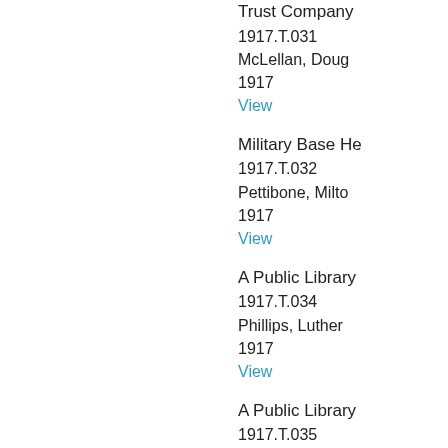Trust Company
1917.T.031
McLellan, Doug
1917
View
Military Base He
1917.T.032
Pettibone, Milto
1917
View
A Public Library
1917.T.034
Phillips, Luther
1917
View
A Public Library
1917.T.035
Phillips, Luther
1917
View
A Public Library
1917.T.036